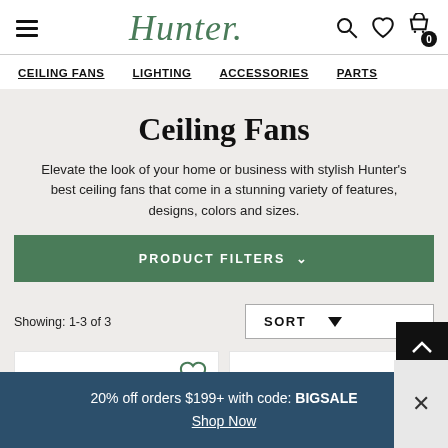Hunter — Navigation header with logo, hamburger menu, search, wishlist, and cart icons
CEILING FANS  LIGHTING  ACCESSORIES  PARTS
Ceiling Fans
Elevate the look of your home or business with stylish Hunter's best ceiling fans that come in a stunning variety of features, designs, colors and sizes.
PRODUCT FILTERS ∨
Showing: 1-3 of 3
SORT
20% off orders $199+ with code: BIGSALE
Shop Now